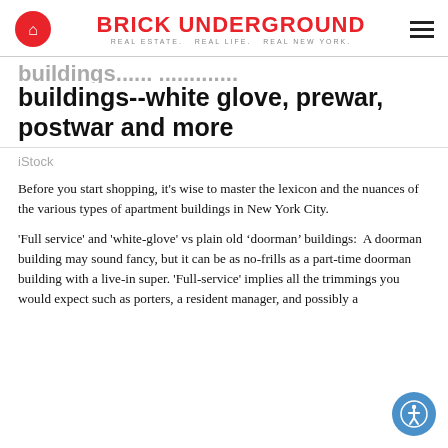BRICK UNDERGROUND | REAL ESTATE. REAL LIFE. REAL NEW YORK.
buildings--white glove, prewar, postwar and more
iStock
Before you start shopping, it's wise to master the lexicon and the nuances of the various types of apartment buildings in New York City.
'Full service' and 'white-glove' vs plain old ‘doorman’ buildings:  A doorman building may sound fancy, but it can be as no-frills as a part-time doorman building with a live-in super. 'Full-service' implies all the trimmings you would expect such as porters, a resident manager, and possibly a